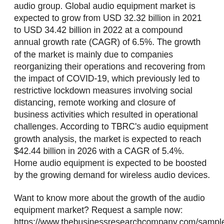audio group. Global audio equipment market is expected to grow from USD 32.32 billion in 2021 to USD 34.42 billion in 2022 at a compound annual growth rate (CAGR) of 6.5%. The growth of the market is mainly due to companies reorganizing their operations and recovering from the impact of COVID-19, which previously led to restrictive lockdown measures involving social distancing, remote working and closure of business activities which resulted in operational challenges. According to TBRC's audio equipment growth analysis, the market is expected to reach $42.44 billion in 2026 with a CAGR of 5.4%. Home audio equipment is expected to be boosted by the growing demand for wireless audio devices.
Want to know more about the growth of the audio equipment market? Request a sample now: https://www.thebusinessresearchcompany.com/sample.aspx?id=10&type=smp
Audio equipment includes the sale of audio equipment and related services used for entertainment, musical instrument